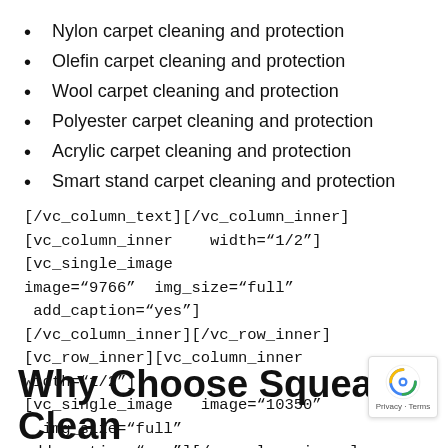Nylon carpet cleaning and protection
Olefin carpet cleaning and protection
Wool carpet cleaning and protection
Polyester carpet cleaning and protection
Acrylic carpet cleaning and protection
Smart stand carpet cleaning and protection
[/vc_column_text][/vc_column_inner][vc_column_inner width="1/2"][vc_single_image image="9766" img_size="full" add_caption="yes"][/vc_column_inner][/vc_row_inner][vc_row_inner][vc_column_inner width="1/2"][vc_single_image image="10350" img_size="full" add_caption="yes"][/vc_column_inner][vc_column_inner width="1/2"][vc_column_
Why Choose Squeaky Clean